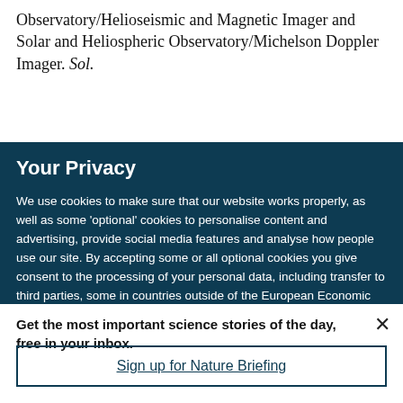Observatory/Helioseismic and Magnetic Imager and Solar and Heliospheric Observatory/Michelson Doppler Imager. Sol.
Your Privacy
We use cookies to make sure that our website works properly, as well as some 'optional' cookies to personalise content and advertising, provide social media features and analyse how people use our site. By accepting some or all optional cookies you give consent to the processing of your personal data, including transfer to third parties, some in countries outside of the European Economic Area that do not offer the same data protection standards as the country where you live. You can decide which optional cookies to accept by clicking on 'Manage Settings', where you can
Get the most important science stories of the day, free in your inbox.
Sign up for Nature Briefing